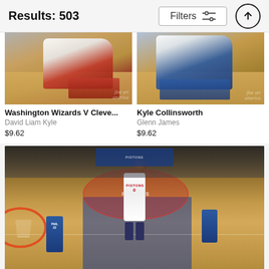Results: 503
[Figure (photo): Basketball sneaker photo - Washington Wizards V Cleveland game, feet on hardwood court]
Washington Wizards V Cleve...
David Liam Kyle
$9.62
[Figure (photo): Basketball sneaker photo - Kyle Collinsworth, blue sneakers on hardwood court]
Kyle Collinsworth
Glenn James
$9.62
[Figure (photo): NBA basketball game photo - Detroit Pistons player #0 dunking, Philadelphia 76ers players visible, Pistons logo on court floor]